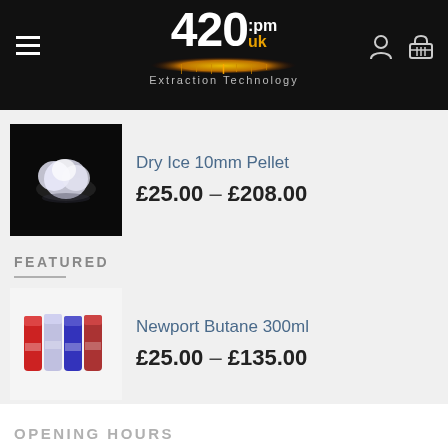420pm UK – Extraction Technology
[Figure (photo): Dry ice pellet on black background]
Dry Ice 10mm Pellet
£25.00 – £208.00
FEATURED
[Figure (photo): Newport Butane 300ml cans]
Newport Butane 300ml
£25.00 – £135.00
[Figure (photo): Dry ice pellet on black background]
Dry Ice 10mm Pellet
£25.00 – £208.00
OPENING HOURS